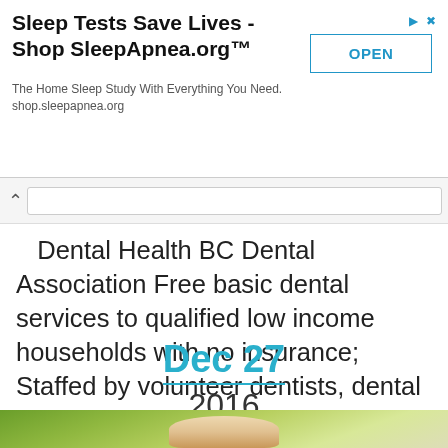[Figure (screenshot): Advertisement banner for SleepApnea.org with title 'Sleep Tests Save Lives - Shop SleepApnea.org™', subtitle 'The Home Sleep Study With Everything You Need. shop.sleepapnea.org', and an OPEN button]
Your Dental Health BC Dental Association Free basic dental services to qualified low income households with no insurance; Staffed by volunteer dentists, dental assistants and hygienists Road to Rushmore When searching for an excellent Nanaimo BC Dental Clinic, you ought to choose one that shows signs
Dec 27
2016
[Figure (photo): Partial photo of a person against a green blurred background, cropped at bottom of page]